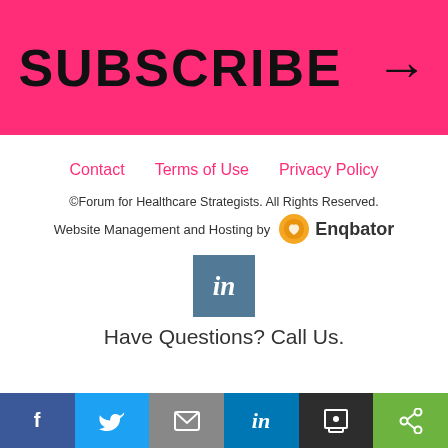SUBSCRIBE →
Contact   Terms of Use   Privacy Policy
©Forum for Healthcare Strategists. All Rights Reserved.
Website Management and Hosting by Enqbator
[Figure (logo): LinkedIn square icon with 'in' text on steel-blue background]
Have Questions? Call Us.
[Figure (infographic): Social sharing bar with Facebook, Twitter, Email, LinkedIn, Print, and Share buttons]